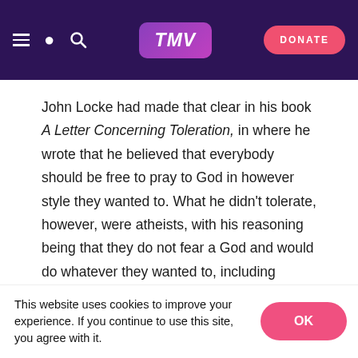TMV — navigation bar with hamburger menu, search icon, TMV logo, and DONATE button
John Locke had made that clear in his book A Letter Concerning Toleration, in where he wrote that he believed that everybody should be free to pray to God in however style they wanted to. What he didn't tolerate, however, were atheists, with his reasoning being that they do not fear a God and would do whatever they wanted to, including murder and other things that could damage a society.
[Figure (other): Advertisement placeholder box with text 'ADVERTISE ON TMV']
This website uses cookies to improve your experience. If you continue to use this site, you agree with it.